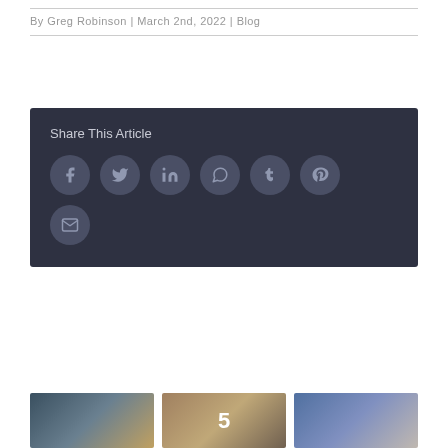By Greg Robinson | March 2nd, 2022 | Blog
[Figure (infographic): Share This Article panel with social media icons: Facebook, Twitter, LinkedIn, WhatsApp, Tumblr, Pinterest, and Email]
[Figure (photo): Three thumbnail images at the bottom of the page]